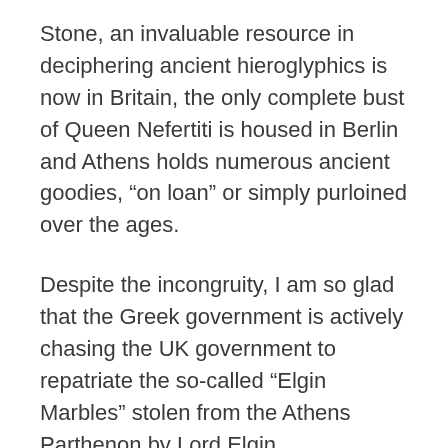Stone, an invaluable resource in deciphering ancient hieroglyphics is now in Britain, the only complete bust of Queen Nefertiti is housed in Berlin and Athens holds numerous ancient goodies, “on loan” or simply purloined over the ages.
Despite the incongruity, I am so glad that the Greek government is actively chasing the UK government to repatriate the so-called “Elgin Marbles” stolen from the Athens Parthenon by Lord Elgin.